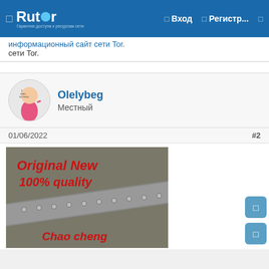Rutor — Вход — Регистр...
...информационный сайт сети Tor.
Olelybeg
Местный
01/06/2022
#2
[Figure (photo): Product photo of an IC chip strip on a PCB tape reel with red text overlay reading 'Original New 100% quality' and 'Chao cheng']